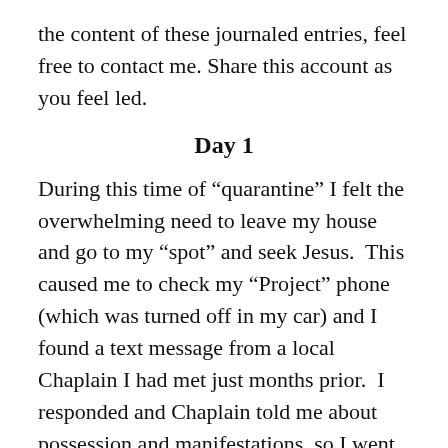the content of these journaled entries, feel free to contact me. Share this account as you feel led.
Day 1
During this time of “quarantine” I felt the overwhelming need to leave my house and go to my “spot” and seek Jesus. This caused me to check my “Project” phone (which was turned off in my car) and I found a text message from a local Chaplain I had met just months prior. I responded and Chaplain told me about possession and manifestations, so I went over to help. I arrived and a woman was “dazed-out” on the Chaplain’s couch, with her head laying straight back, eyes open but looking dead. Chaplain and I spoke about the woman’s situation. I said, “Okay. Let’s pick a fight” and we started praying. As soon as